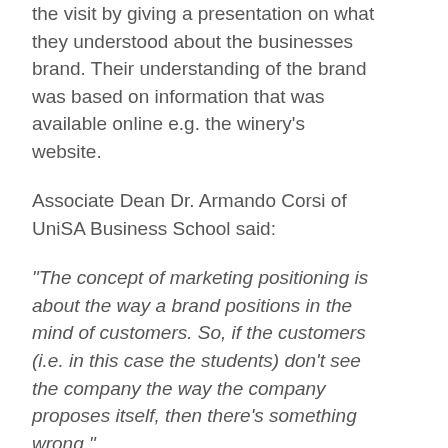the visit by giving a presentation on what they understood about the businesses brand. Their understanding of the brand was based on information that was available online e.g. the winery's website.
Associate Dean Dr. Armando Corsi of UniSA Business School said:
“The concept of marketing positioning is about the way a brand positions in the mind of customers. So, if the customers (i.e. in this case the students) don’t see the company the way the company proposes itself, then there’s something wrong.”
The student’s presentations at each winery were